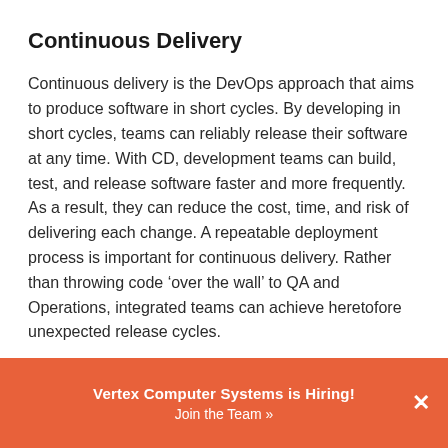Continuous Delivery
Continuous delivery is the DevOps approach that aims to produce software in short cycles. By developing in short cycles, teams can reliably release their software at any time. With CD, development teams can build, test, and release software faster and more frequently. As a result, they can reduce the cost, time, and risk of delivering each change. A repeatable deployment process is important for continuous delivery. Rather than throwing code ‘over the wall’ to QA and Operations, integrated teams can achieve heretofore unexpected release cycles.
Organizational Performance
The transformation to a DevOps organization takes a large
Vertex Computer Systems is Hiring!
Join the Team »